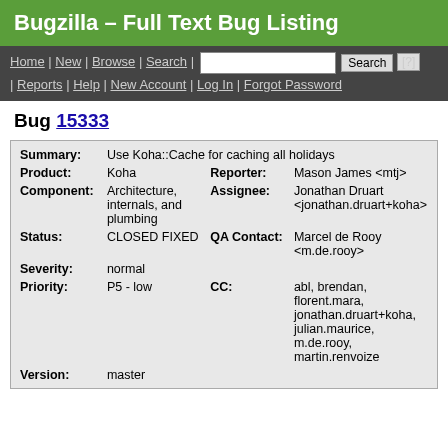Bugzilla – Full Text Bug Listing
Home | New | Browse | Search | [search box] Search [?] | Reports | Help | New Account | Log In | Forgot Password
Bug 15333
| Summary: | Use Koha::Cache for caching all holidays |  |  |
| Product: | Koha | Reporter: | Mason James <mtj> |
| Component: | Architecture, internals, and plumbing | Assignee: | Jonathan Druart <jonathan.druart+koha> |
| Status: | CLOSED FIXED | QA Contact: | Marcel de Rooy <m.de.rooy> |
| Severity: | normal |  |  |
| Priority: | P5 - low | CC: | abl, brendan, florent.mara, jonathan.druart+koha, julian.maurice, m.de.rooy, martin.renvoize |
| Version: | master |  |  |